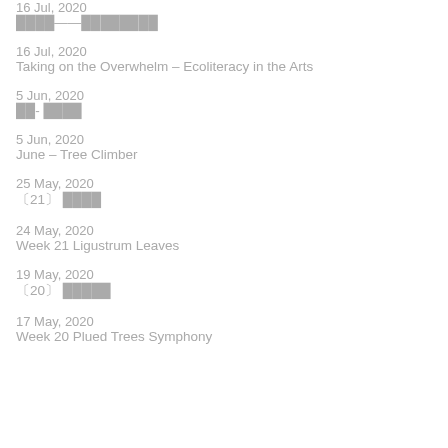16 Jul, 2020
████——████████
16 Jul, 2020
Taking on the Overwhelm – Ecoliteracy in the Arts
5 Jun, 2020
██- ████
5 Jun, 2020
June – Tree Climber
25 May, 2020
〔21〕 ████
24 May, 2020
Week 21 Ligustrum Leaves
19 May, 2020
〔20〕 █████
17 May, 2020
Week 20 Plued Trees Symphony